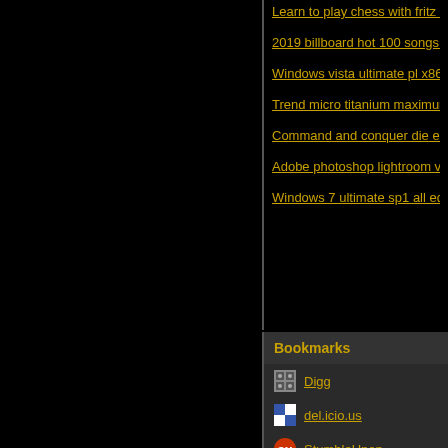Learn to play chess with fritz and c...
2019 billboard hot 100 songs top h...
Windows vista ultimate pl x86 sp2...
Trend micro titanium maximum se...
Command and conquer die ersten...
Adobe photoshop lightroom v3 2.0...
Windows 7 ultimate sp1 all edition...
Bookmarks
Digg
del.icio.us
StumbleUpon
Google